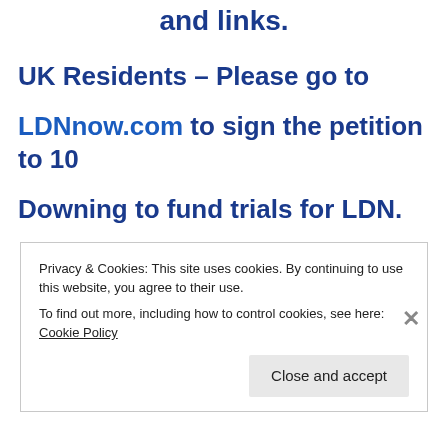and links.
UK Residents – Please go to LDNnow.com to sign the petition to 10 Downing to fund trials for LDN.
Privacy & Cookies: This site uses cookies. By continuing to use this website, you agree to their use.
To find out more, including how to control cookies, see here: Cookie Policy